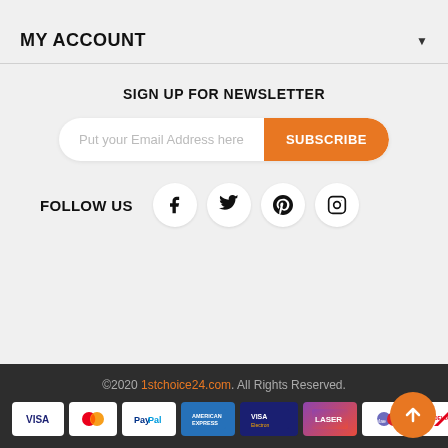MY ACCOUNT
SIGN UP FOR NEWSLETTER
Put your Email Address here | SUBSCRIBE
FOLLOW US
[Figure (screenshot): Social media icons: Facebook, Twitter, Pinterest, Instagram]
©2020 1stchoice24.com. All Rights Reserved.
[Figure (infographic): Payment method icons: VISA, MasterCard, PayPal, American Express, VISA Electron, Laser, Maestro, Delta]